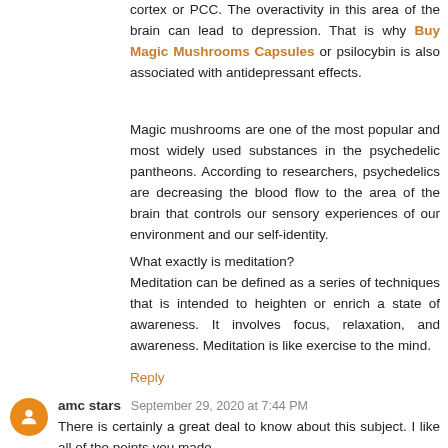cortex or PCC. The overactivity in this area of the brain can lead to depression. That is why Buy Magic Mushrooms Capsules or psilocybin is also associated with antidepressant effects.
Magic mushrooms are one of the most popular and most widely used substances in the psychedelic pantheons. According to researchers, psychedelics are decreasing the blood flow to the area of the brain that controls our sensory experiences of our environment and our self-identity.
What exactly is meditation?
Meditation can be defined as a series of techniques that is intended to heighten or enrich a state of awareness. It involves focus, relaxation, and awareness. Meditation is like exercise to the mind.
Reply
amc stars  September 29, 2020 at 7:44 PM
There is certainly a great deal to know about this subject. I like all of the points you made.